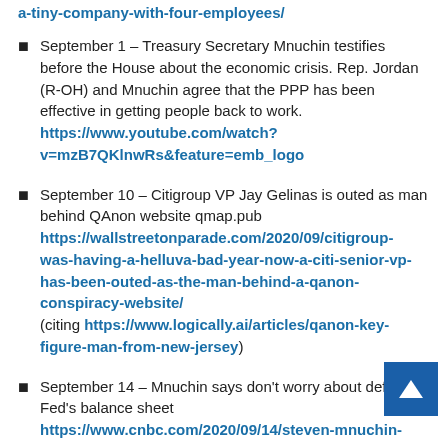a-tiny-company-with-four-employees/
September 1 – Treasury Secretary Mnuchin testifies before the House about the economic crisis. Rep. Jordan (R-OH) and Mnuchin agree that the PPP has been effective in getting people back to work. https://www.youtube.com/watch?v=mzB7QKlnwRs&feature=emb_logo
September 10 – Citigroup VP Jay Gelinas is outed as man behind QAnon website qmap.pub https://wallstreetonparade.com/2020/09/citigroup-was-having-a-helluva-bad-year-now-a-citi-senior-vp-has-been-outed-as-the-man-behind-a-qanon-conspiracy-website/ (citing https://www.logically.ai/articles/qanon-key-figure-man-from-new-jersey)
September 14 – Mnuchin says don't worry about defi Fed's balance sheet https://www.cnbc.com/2020/09/14/steven-mnuchin